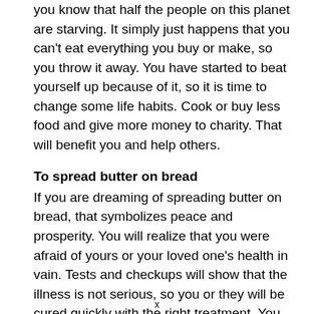you know that half the people on this planet are starving. It simply just happens that you can't eat everything you buy or make, so you throw it away. You have started to beat yourself up because of it, so it is time to change some life habits. Cook or buy less food and give more money to charity. That will benefit you and help others.
To spread butter on bread
If you are dreaming of spreading butter on bread, that symbolizes peace and prosperity. You will realize that you were afraid of yours or your loved one's health in vain. Tests and checkups will show that the illness is not serious, so you or they will be cured quickly with the right treatment. You will realize only then that putting your health first is a good thing, otherwise, the outcome would
x